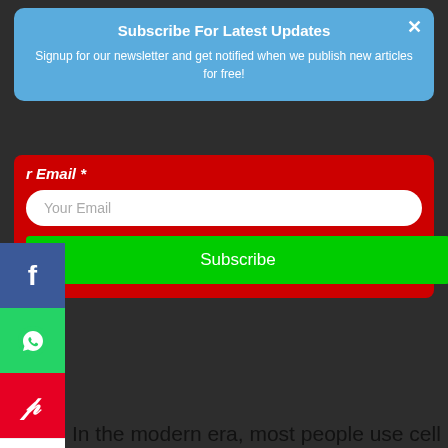Subscribe For Latest Updates
Signup for our newsletter and get notified when we publish new articles for free!
r Email *
Your Email
Subscribe
[Figure (infographic): Social media share icons column: Facebook (blue), WhatsApp (green), Pinterest (red), Gmail (white with M), Instagram (gradient), LinkedIn (blue)]
s time passes [by Convertful badge] were introduced, and with pen and paper people came up with new puzzle games which still exist. But nowadays no one plays these types of traditional games with the usage of paper and pen.
In the modern era, most people use cell